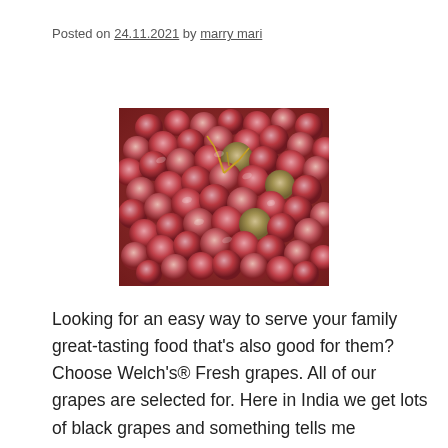Posted on 24.11.2021 by marry mari
[Figure (photo): A close-up photograph of a bunch of red/pink grapes in a bowl or container, showing many individual grapes clustered together with stems visible.]
Looking for an easy way to serve your family great-tasting food that's also good for them? Choose Welch's® Fresh grapes. All of our grapes are selected for. Here in India we get lots of black grapes and something tells me